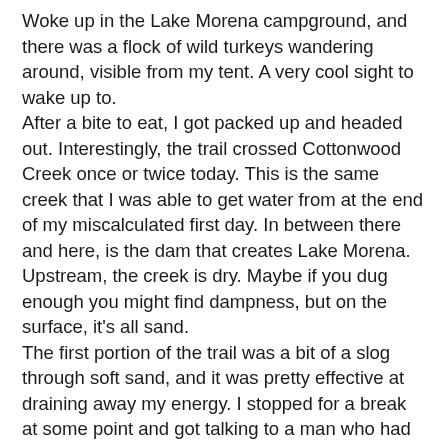Woke up in the Lake Morena campground, and there was a flock of wild turkeys wandering around, visible from my tent. A very cool sight to wake up to. After a bite to eat, I got packed up and headed out. Interestingly, the trail crossed Cottonwood Creek once or twice today. This is the same creek that I was able to get water from at the end of my miscalculated first day. In between there and here, is the dam that creates Lake Morena. Upstream, the creek is dry. Maybe if you dug enough you might find dampness, but on the surface, it's all sand. The first portion of the trail was a bit of a slog through soft sand, and it was pretty effective at draining away my energy. I stopped for a break at some point and got talking to a man who had stopped in the same place. He was carrying some pretty heavy looking gear and was feeling a little discouraged. He said his daughter was planning on meeting him the next day and he was thinking of how he was going to continue his hike. I encouraged him to look into getting some lighter gear to make the walking easier. I don't recall if I ever saw him again, but I hope that he was able to have a hike